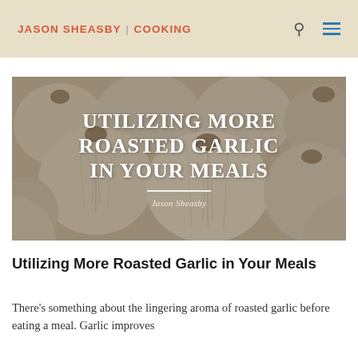JASON SHEASBY | COOKING
[Figure (photo): Close-up photograph of multiple heads of garlic with overlaid text reading 'UTILIZING MORE ROASTED GARLIC IN YOUR MEALS' and author name 'Jason Sheasby']
Utilizing More Roasted Garlic in Your Meals
There's something about the lingering aroma of roasted garlic before eating a meal. Garlic improves